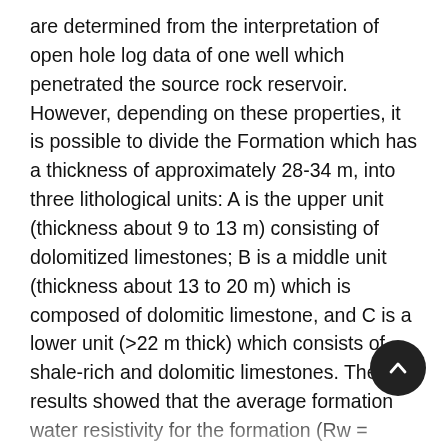are determined from the interpretation of open hole log data of one well which penetrated the source rock reservoir. However, depending on these properties, it is possible to divide the Formation which has a thickness of approximately 28-34 m, into three lithological units: A is the upper unit (thickness about 9 to 13 m) consisting of dolomitized limestones; B is a middle unit (thickness about 13 to 20 m) which is composed of dolomitic limestone, and C is a lower unit (>22 m thick) which consists of shale-rich and dolomitic limestones. The results showed that the average formation water resistivity for the formation (Rw = 0.024), the average resistivity of the mud filtration (Rmf = 0.46), and the Archie parameters were determined by the picket plot method, where (m) value equal to 1.86, (n) value equal to 2 and (a) value equal to 1. Also, this reservoir proved to be economical for future developments to increase the production rate of the field by dealing with